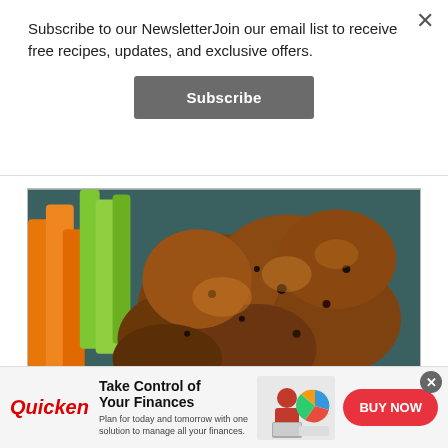Subscribe to our NewsletterJoin our email list to receive free recipes, updates, and exclusive offers.
Subscribe
[Figure (photo): Close-up photo of seasoned baked or grilled chicken pieces with herbs, served with carrot and celery sticks in the background.]
Take Control of Your Finances Plan for today and tomorrow with one solution to manage all your finances. BUY NOW